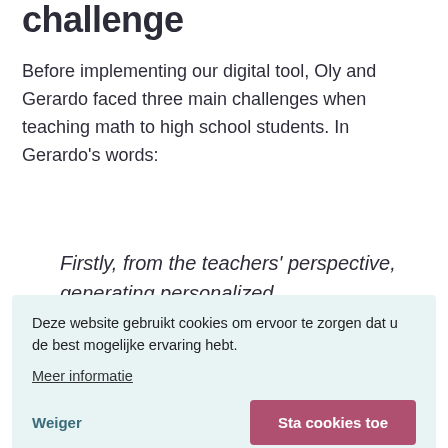challenge
Before implementing our digital tool, Oly and Gerardo faced three main challenges when teaching math to high school students. In Gerardo’s words:
Firstly, from the teachers’ perspective, generating personalized material tailored to everyone is very hard. From the student’s side, it’s also difficult to get individualized online support. Therefore, a personalized evaluation and support resource has a priceless value. On the other hand,
Deze website gebruikt cookies om ervoor te zorgen dat u de best mogelijke ervaring hebt.
Meer informatie
Weiger
Sta cookies toe